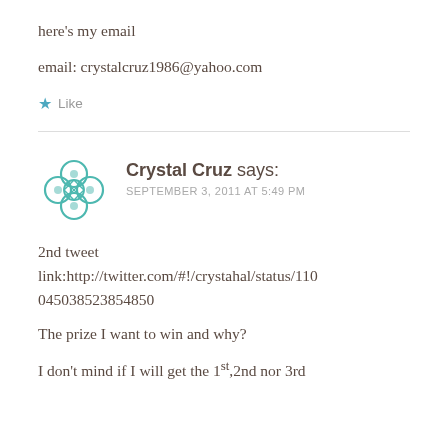here's my email
email: crystalcruz1986@yahoo.com
★ Like
[Figure (illustration): Teal decorative mandala/flower avatar icon for Crystal Cruz]
Crystal Cruz says:
SEPTEMBER 3, 2011 AT 5:49 PM
2nd tweet
link:http://twitter.com/#!/crystahal/status/1100450385238548​50

The prize I want to win and why?

I don't mind if I will get the 1st,2nd nor 3rd